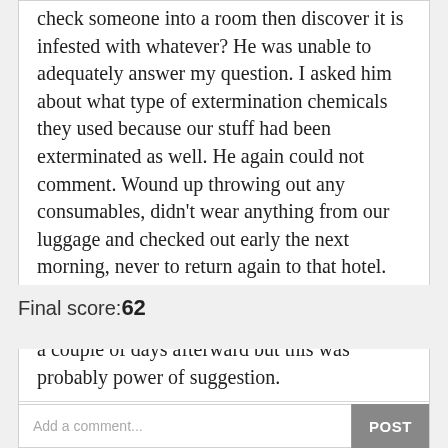check someone into a room then discover it is infested with whatever? He was unable to adequately answer my question. I asked him about what type of extermination chemicals they used because our stuff had been exterminated as well. He again could not comment. Wound up throwing out any consumables, didn't wear anything from our luggage and checked out early the next morning, never to return again to that hotel. When we got home washed everything in the hottest water available. As an aside: itched for a couple of days afterward but this was probably power of suggestion.
whatoosee, Craig Adderley
Report
Final score:62
Add a comment...
POST